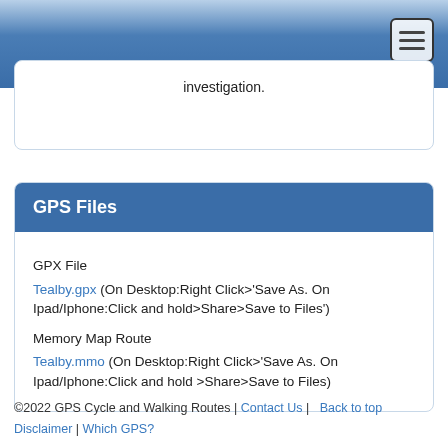investigation.
GPS Files
GPX File
Tealby.gpx (On Desktop:Right Click>'Save As. On Ipad/Iphone:Click and hold>Share>Save to Files')
Memory Map Route
Tealby.mmo (On Desktop:Right Click>'Save As. On Ipad/Iphone:Click and hold >Share>Save to Files)
©2022 GPS Cycle and Walking Routes | Contact Us | Back to top Disclaimer | Which GPS?